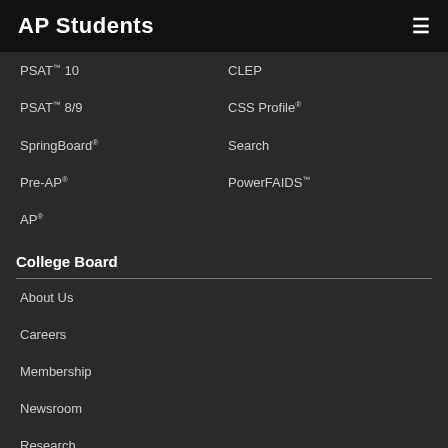AP Students
PSAT™ 10
CLEP
PSAT™ 8/9
CSS Profile®
SpringBoard®
Search
Pre-AP®
PowerFAIDS™
AP®
College Board
About Us
Careers
Membership
Newsroom
Research
Services for Students with Disabilities
College Board Blog